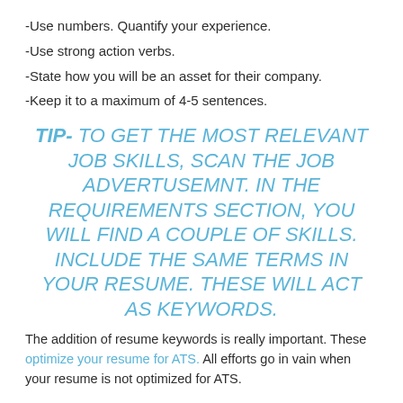-Use numbers. Quantify your experience.
-Use strong action verbs.
-State how you will be an asset for their company.
-Keep it to a maximum of 4-5 sentences.
TIP- TO GET THE MOST RELEVANT JOB SKILLS, SCAN THE JOB ADVERTUSEMNT. IN THE REQUIREMENTS SECTION, YOU WILL FIND A COUPLE OF SKILLS. INCLUDE THE SAME TERMS IN YOUR RESUME. THESE WILL ACT AS KEYWORDS.
The addition of resume keywords is really important. These optimize your resume for ATS. All efforts go in vain when your resume is not optimized for ATS.